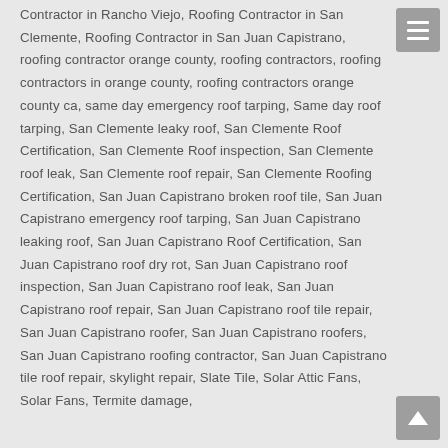Contractor in Rancho Viejo, Roofing Contractor in San Clemente, Roofing Contractor in San Juan Capistrano, roofing contractor orange county, roofing contractors, roofing contractors in orange county, roofing contractors orange county ca, same day emergency roof tarping, Same day roof tarping, San Clemente leaky roof, San Clemente Roof Certification, San Clemente Roof inspection, San Clemente roof leak, San Clemente roof repair, San Clemente Roofing Certification, San Juan Capistrano broken roof tile, San Juan Capistrano emergency roof tarping, San Juan Capistrano leaking roof, San Juan Capistrano Roof Certification, San Juan Capistrano roof dry rot, San Juan Capistrano roof inspection, San Juan Capistrano roof leak, San Juan Capistrano roof repair, San Juan Capistrano roof tile repair, San Juan Capistrano roofer, San Juan Capistrano roofers, San Juan Capistrano roofing contractor, San Juan Capistrano tile roof repair, skylight repair, Slate Tile, Solar Attic Fans, Solar Fans, Termite damage,